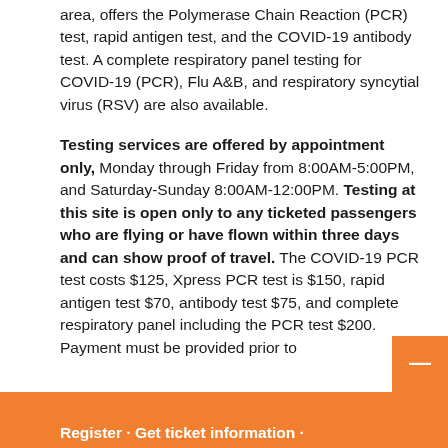area, offers the Polymerase Chain Reaction (PCR) test, rapid antigen test, and the COVID-19 antibody test. A complete respiratory panel testing for COVID-19 (PCR), Flu A&B, and respiratory syncytial virus (RSV) are also available.
Testing services are offered by appointment only, Monday through Friday from 8:00AM-5:00PM, and Saturday-Sunday 8:00AM-12:00PM. Testing at this site is open only to any ticketed passengers who are flying or have flown within three days and can show proof of travel. The COVID-19 PCR test costs $125, Xpress PCR test is $150, rapid antigen test $70, antibody test $75, and complete respiratory panel including the PCR test $200. Payment must be provided prior to
Register · Get ticket information ·